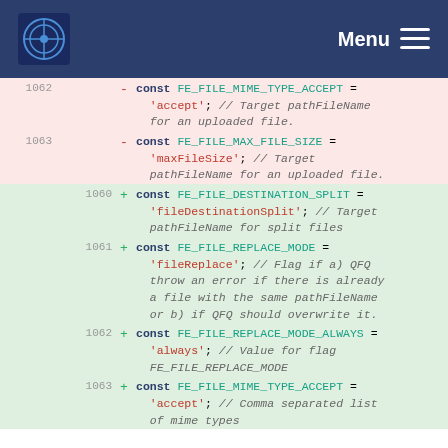Menu
[Figure (screenshot): Code diff view showing removed lines 1062-1063 (pink background) and added lines 1060-1063 (green background) of JavaScript constants for file handling: FE_FILE_MIME_TYPE_ACCEPT, FE_FILE_MAX_FILE_SIZE, FE_FILE_DESTINATION_SPLIT, FE_FILE_REPLACE_MODE, FE_FILE_REPLACE_MODE_ALWAYS, FE_FILE_MIME_TYPE_ACCEPT]